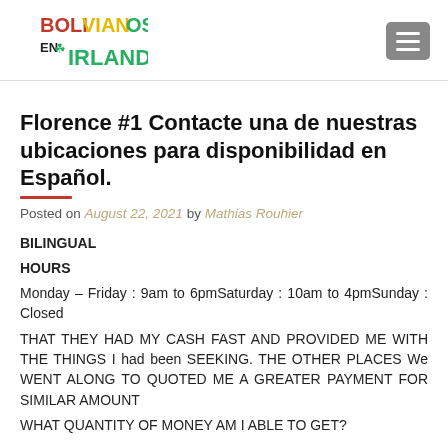[Figure (logo): Bolivianos en Irlanda logo with red, yellow, green and black text and a shamrock icon]
Florence #1 Contacte una de nuestras ubicaciones para disponibilidad en Español.
Posted on August 22, 2021 by Mathias Rouhier
BILINGUAL
HOURS
Monday – Friday : 9am to 6pmSaturday : 10am to 4pmSunday : Closed
THAT THEY HAD MY CASH FAST AND PROVIDED ME WITH THE THINGS I had been SEEKING. THE OTHER PLACES We WENT ALONG TO QUOTED ME A GREATER PAYMENT FOR SIMILAR AMOUNT
WHAT QUANTITY OF MONEY AM I ABLE TO GET?